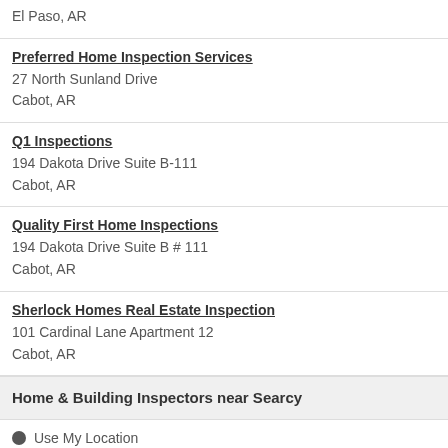El Paso, AR
Preferred Home Inspection Services
27 North Sunland Drive
Cabot, AR
Q1 Inspections
194 Dakota Drive Suite B-111
Cabot, AR
Quality First Home Inspections
194 Dakota Drive Suite B # 111
Cabot, AR
Sherlock Homes Real Estate Inspection
101 Cardinal Lane Apartment 12
Cabot, AR
Home & Building Inspectors near Searcy
Use My Location